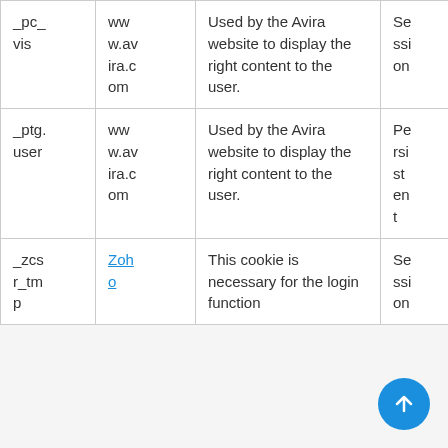| _pc_vis | www.avira.com | Used by the Avira website to display the right content to the user. | Session |
| _ptg.user | www.avira.com | Used by the Avira website to display the right content to the user. | Persistent |
| _zcsr_tmp | Zoho | This cookie is necessary for the login function | Session |